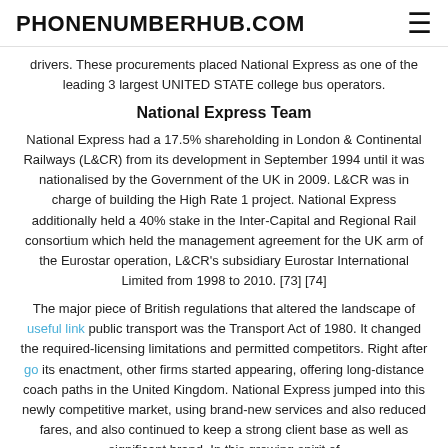PHONENUMBERHUB.COM
drivers. These procurements placed National Express as one of the leading 3 largest UNITED STATE college bus operators.
National Express Team
National Express had a 17.5% shareholding in London & Continental Railways (L&CR) from its development in September 1994 until it was nationalised by the Government of the UK in 2009. L&CR was in charge of building the High Rate 1 project. National Express additionally held a 40% stake in the Inter-Capital and Regional Rail consortium which held the management agreement for the UK arm of the Eurostar operation, L&CR's subsidiary Eurostar International Limited from 1998 to 2010. [73] [74]
The major piece of British regulations that altered the landscape of useful link public transport was the Transport Act of 1980. It changed the required-licensing limitations and permitted competitors. Right after go its enactment, other firms started appearing, offering long-distance coach paths in the United Kingdom. National Express jumped into this newly competitive market, using brand-new services and also reduced fares, and also continued to keep a strong client base as well as significant brand. In this growing spirit of